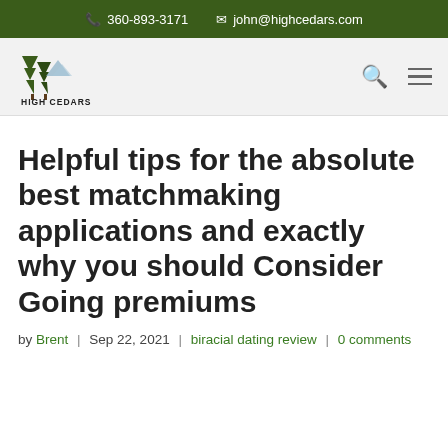360-893-3171  john@highcedars.com
[Figure (logo): High Cedars Golf Club logo with tree illustration and text]
Helpful tips for the absolute best matchmaking applications and exactly why you should Consider Going premiums
by Brent | Sep 22, 2021 | biracial dating review | 0 comments